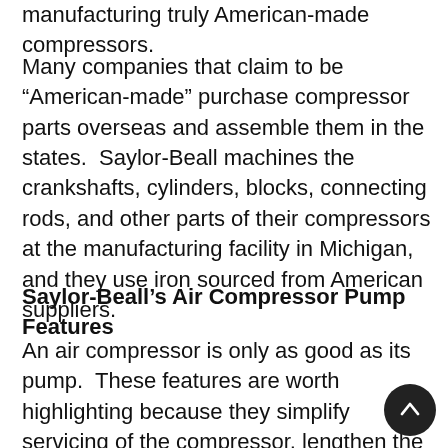manufacturing truly American-made compressors.
Many companies that claim to be “American-made” purchase compressor parts overseas and assemble them in the states.  Saylor-Beall machines the crankshafts, cylinders, blocks, connecting rods, and other parts of their compressors at the manufacturing facility in Michigan, and they use iron sourced from American suppliers.
Saylor-Beall’s Air Compressor Pump Features
An air compressor is only as good as its pump.  These features are worth highlighting because they simplify servicing of the compressor, lengthen the life of the engine, or provide additional benefits.